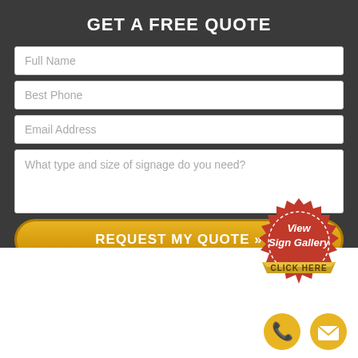GET A FREE QUOTE
Full Name
Best Phone
Email Address
What type and size of signage do you need?
REQUEST MY QUOTE »
[Figure (illustration): Red wax seal badge with 'View Sign Gallery' text and gold ribbon banner with 'CLICK HERE']
Farmingdale Outdoor Signs
[Figure (illustration): Gold circle phone icon]
[Figure (illustration): Gold circle email/envelope icon]